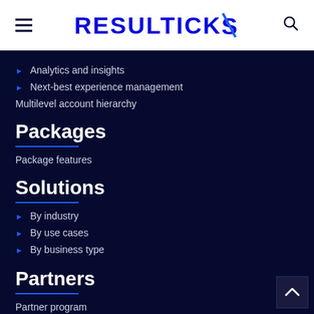RESULTICKS
Analytics and insights
Next-best experience management
Multilevel account hierarchy
Packages
Package features
Solutions
By industry
By use cases
By business type
Partners
Partner program
Partnership types